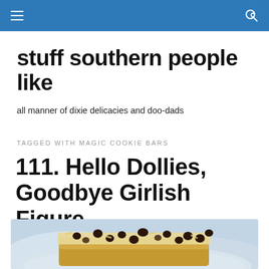Navigation header with hamburger menu and search icon
stuff southern people like
all manner of dixie delicacies and doo-dads
TAGGED WITH MAGIC COOKIE BARS
111. Hello Dollies, Goodbye Girlish Figure
[Figure (photo): Photo of Hello Dollies / Magic Cookie Bars — layered coconut and chocolate chip bars on a white plate or dish, viewed from above at a slight angle]